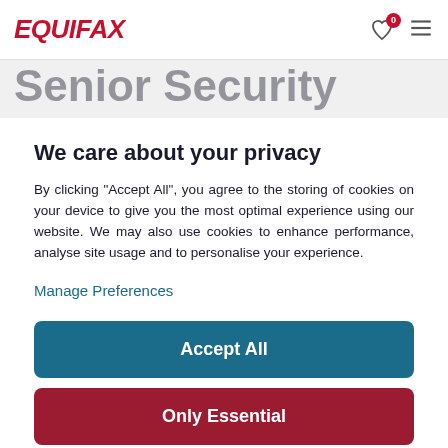Equifax
Senior Security
We care about your privacy
By clicking "Accept All", you agree to the storing of cookies on your device to give you the most optimal experience using our website. We may also use cookies to enhance performance, analyse site usage and to personalise your experience.
Manage Preferences
Accept All
Only Essential